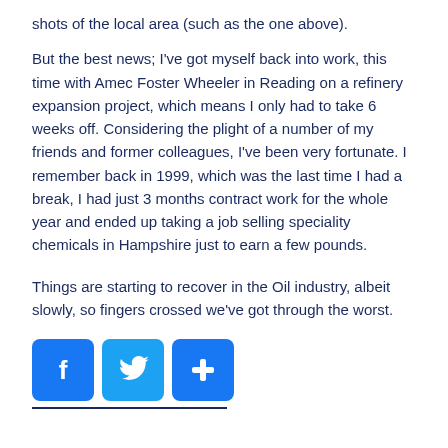shots of the local area (such as the one above).
But the best news; I've got myself back into work, this time with Amec Foster Wheeler in Reading on a refinery expansion project, which means I only had to take 6 weeks off. Considering the plight of a number of my friends and former colleagues, I've been very fortunate. I remember back in 1999, which was the last time I had a break, I had just 3 months contract work for the whole year and ended up taking a job selling speciality chemicals in Hampshire just to earn a few pounds.
Things are starting to recover in the Oil industry, albeit slowly, so fingers crossed we've got through the worst.
[Figure (infographic): Social share buttons: Facebook (blue f icon), Twitter (blue bird icon), and a blue plus/share icon, followed by a horizontal divider line.]